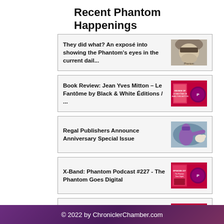Recent Phantom Happenings
They did what? An exposé into showing the Phantom's eyes in the current dail...
Book Review: Jean Yves Mitton – Le Fantôme by Black & White Éditions / ...
Regal Publishers Announce Anniversary Special Issue
X-Band: Phantom Podcast #227 - The Phantom Goes Digital
Review of Fantomen 2022/16 & 2022/17
© 2022 by ChroniclerChamber.com